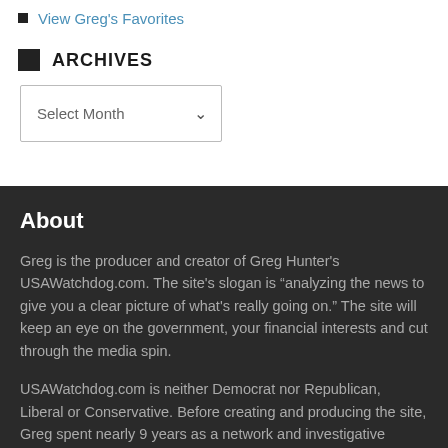View Greg's Favorites
ARCHIVES
Select Month
About
Greg is the producer and creator of Greg Hunter's USAWatchdog.com. The site's slogan is “analyzing the news to give you a clear picture of what's really going on.” The site will keep an eye on the government, your financial interests and cut through the media spin.
USAWatchdog.com is neither Democrat nor Republican, Liberal or Conservative. Before creating and producing the site, Greg spent nearly 9 years as a network and investigative